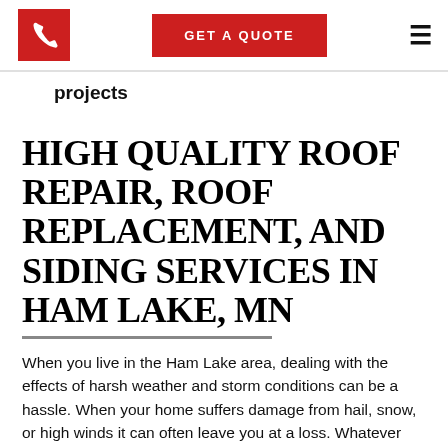GET A QUOTE
projects
HIGH QUALITY ROOF REPAIR, ROOF REPLACEMENT, AND SIDING SERVICES IN HAM LAKE, MN
When you live in the Ham Lake area, dealing with the effects of harsh weather and storm conditions can be a hassle. When your home suffers damage from hail, snow, or high winds it can often leave you at a loss. Whatever the issues your home's exterior may have, the professionals at Trinity Exteriors, Inc, have the expertise you need to solve any problem with your roof or siding. Whether you need minor repairs or a total